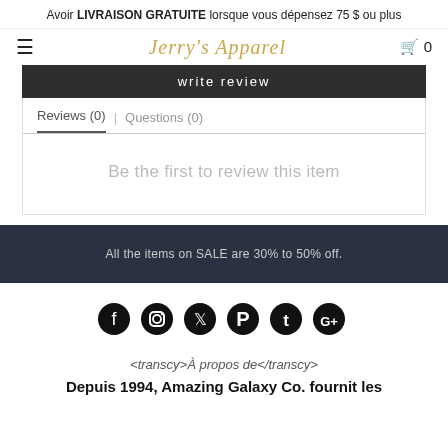Avoir LIVRAISON GRATUITE lorsque vous dépensez 75 $ ou plus
≡   Jerry's Apparel   🛒 0
Write Review
Reviews (0)  | Questions (0)
Be the first to review this item
All the items on SALE are 30% to 50% off.
[Figure (illustration): Social media icons: Facebook, Instagram, Twitter, Pinterest, Tumblr, Google+]
<transcy>À propos de</transcy>
Depuis 1994, Amazing Galaxy Co. fournit les